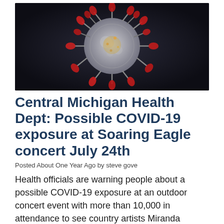[Figure (photo): Close-up microscopic illustration of a coronavirus particle with red spike proteins on a dark background]
Central Michigan Health Dept: Possible COVID-19 exposure at Soaring Eagle concert July 24th
Posted About One Year Ago by steve gove
Health officials are warning people about a possible COVID-19 exposure at an outdoor concert event with more than 10,000 in attendance to see country artists Miranda Lambert and Lee Brice.
The Central Michigan District Health Department said